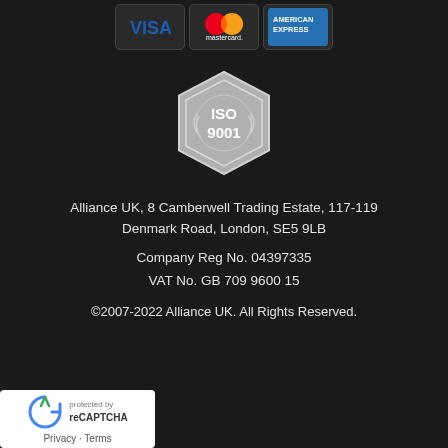[Figure (logo): Payment method logos: VISA, Mastercard, American Express]
[Figure (logo): ISO 9001 certification hexagonal badge in silver/grey]
Alliance UK, 8 Camberwell Trading Estate, 117-119 Denmark Road, London, SE5 9LB
Company Reg No. 04397335
VAT No. GB 709 9600 15
©2007-2022 Alliance UK. All Rights Reserved.
[Figure (logo): reCAPTCHA badge with Privacy and Terms text]